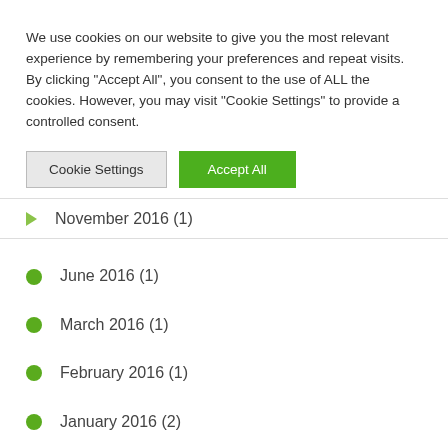We use cookies on our website to give you the most relevant experience by remembering your preferences and repeat visits. By clicking “Accept All”, you consent to the use of ALL the cookies. However, you may visit "Cookie Settings" to provide a controlled consent.
November 2016 (1)
June 2016 (1)
March 2016 (1)
February 2016 (1)
January 2016 (2)